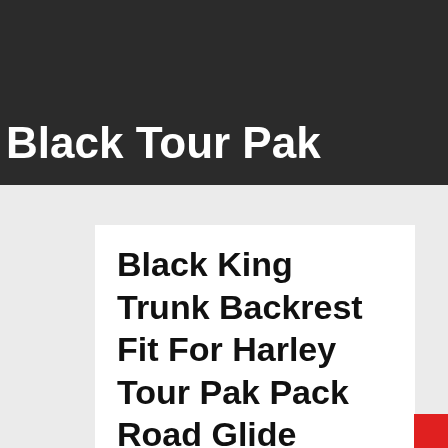Black Tour Pak
Black King Trunk Backrest Fit For Harley Tour Pak Pack Road Glide